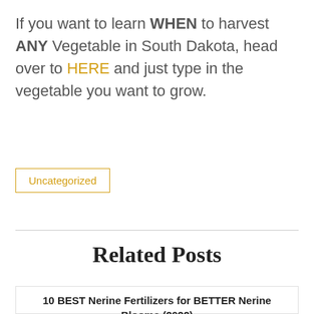If you want to learn WHEN to harvest ANY Vegetable in South Dakota, head over to HERE and just type in the vegetable you want to grow.
Uncategorized
Related Posts
10 BEST Nerine Fertilizers for BETTER Nerine Blooms (2022)